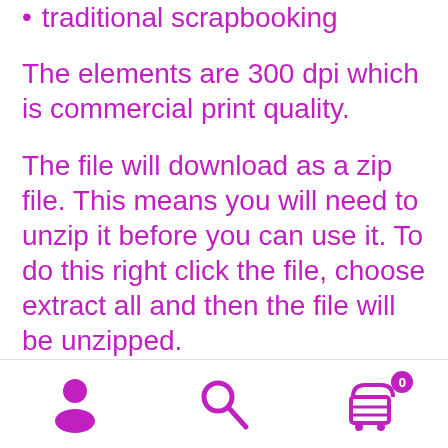traditional scrapbooking
The elements are 300 dpi which is commercial print quality.
The file will download as a zip file. This means you will need to unzip it before you can use it. To do this right click the file, choose extract all and then the file will be unzipped.
If you are downloading on your Iphone you will need to do it in safari in order for the download to work.
Navigation bar with user, search, and cart icons